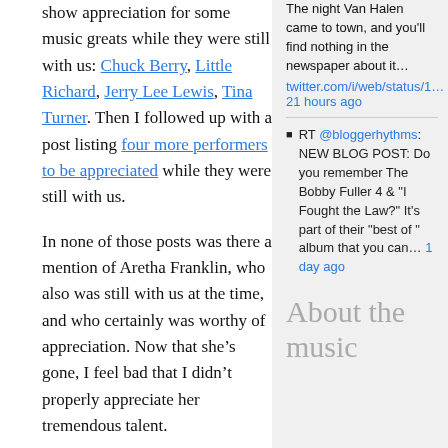show appreciation for some music greats while they were still with us: Chuck Berry, Little Richard, Jerry Lee Lewis, Tina Turner. Then I followed up with a post listing four more performers to be appreciated while they were still with us.
In none of those posts was there a mention of Aretha Franklin, who also was still with us at the time, and who certainly was worthy of appreciation. Now that she’s gone, I feel bad that I didn’t properly appreciate her tremendous talent.
In the wake of Aretha’s passing, Sirius XM turned its Soul Town channel into an Aretha Franklin tribute channel. For the past 11 days, it’s been all Aretha, all the time. I’ve heard deep cuts that go well beyond any of my few Aretha records.
The night Van Halen came to town, and you’ll find nothing in the newspaper about it… twitter.com/i/web/status/1… 21 hours ago
RT @bloggerhythms: NEW BLOG POST: Do you remember The Bobby Fuller 4 & "I Fought the Law?" It’s part of their "best of " album that you can… 1 day ago
About the music